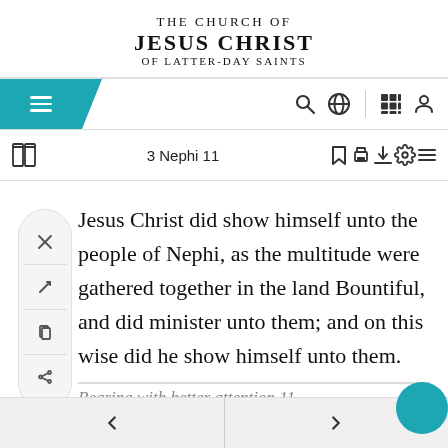THE CHURCH OF JESUS CHRIST OF LATTER-DAY SAINTS
[Figure (screenshot): Navigation bar with hamburger menu, search, globe, grid and user icons]
3 Nephi 11
Jesus Christ did show himself unto the people of Nephi, as the multitude were gathered together in the land Bountiful, and did minister unto them; and on this wise did he show himself unto them.